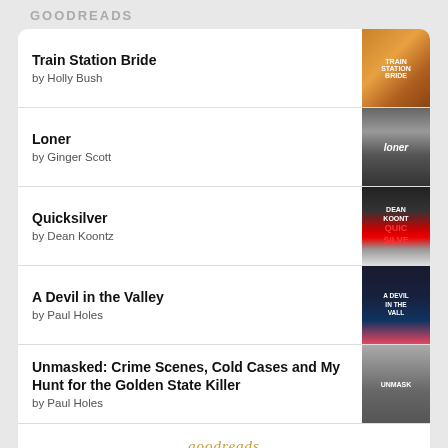GOODREADS
Train Station Bride by Holly Bush
Loner by Ginger Scott
Quicksilver by Dean Koontz
A Devil in the Valley by Paul Holes
Unmasked: Crime Scenes, Cold Cases and My Hunt for the Golden State Killer by Paul Holes
[Figure (logo): goodreads logo at bottom]